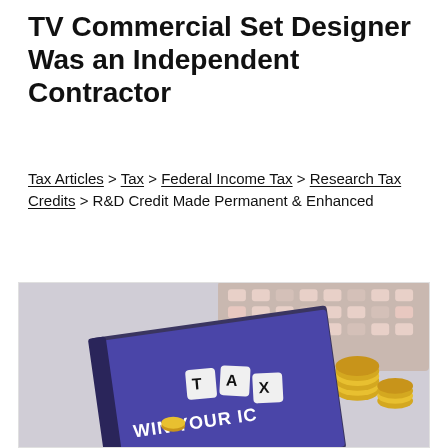TV Commercial Set Designer Was an Independent Contractor
Tax Articles > Tax > Federal Income Tax > Research Tax Credits > R&D Credit Made Permanent & Enhanced
[Figure (photo): A book or booklet with 'WIN YOUR IC...' text on the cover, with dice spelling 'TAX' and coins, and a calculator in the background.]